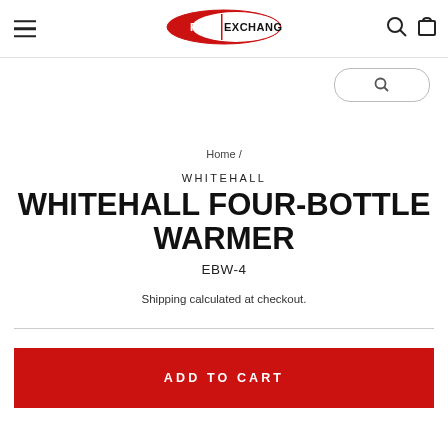FITNESS EXCHANGE (logo) — navigation bar with hamburger menu, logo, search and cart icons
[Figure (logo): Fitness Exchange logo: red oval with FITNESS EXCHANGE text in white/black lettering]
Home /
WHITEHALL
WHITEHALL FOUR-BOTTLE WARMER
EBW-4
Shipping calculated at checkout.
ADD TO CART